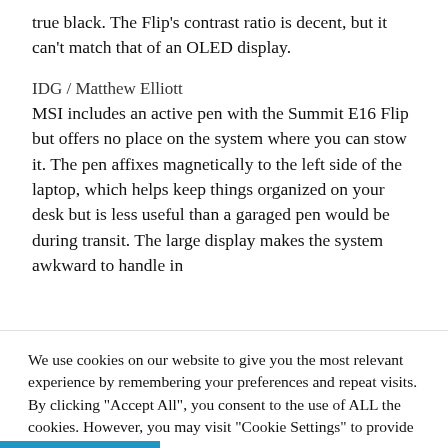true black. The Flip's contrast ratio is decent, but it can't match that of an OLED display.
IDG / Matthew Elliott
MSI includes an active pen with the Summit E16 Flip but offers no place on the system where you can stow it. The pen affixes magnetically to the left side of the laptop, which helps keep things organized on your desk but is less useful than a garaged pen would be during transit. The large display makes the system awkward to handle in
We use cookies on our website to give you the most relevant experience by remembering your preferences and repeat visits. By clicking "Accept All", you consent to the use of ALL the cookies. However, you may visit "Cookie Settings" to provide a controlled consent.